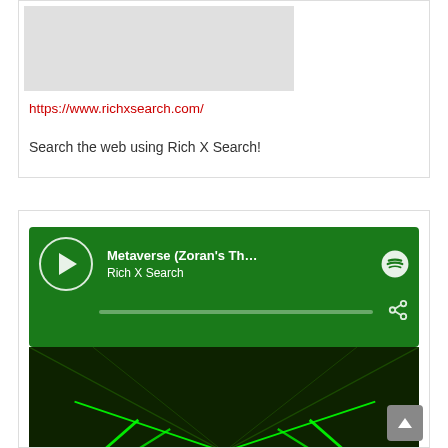[Figure (screenshot): Gray placeholder image rectangle]
https://www.richxsearch.com/
Search the web using Rich X Search!
[Figure (screenshot): Spotify embedded player showing 'Metaverse (Zoran's Theme) - Stone...' by Rich X Search with green background and album art featuring neon green laser graphics and RICH text logo]